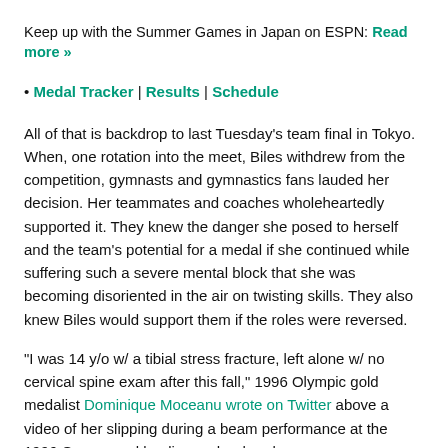Keep up with the Summer Games in Japan on ESPN: Read more »
• Medal Tracker | Results | Schedule
All of that is backdrop to last Tuesday's team final in Tokyo. When, one rotation into the meet, Biles withdrew from the competition, gymnasts and gymnastics fans lauded her decision. Her teammates and coaches wholeheartedly supported it. They knew the danger she posed to herself and the team's potential for a medal if she continued while suffering such a severe mental block that she was becoming disoriented in the air on twisting skills. They also knew Biles would support them if the roles were reversed.
"I was 14 y/o w/ a tibial stress fracture, left alone w/ no cervical spine exam after this fall," 1996 Olympic gold medalist Dominique Moceanu wrote on Twitter above a video of her slipping during a beam performance at the 1996 Games and landing on her head.